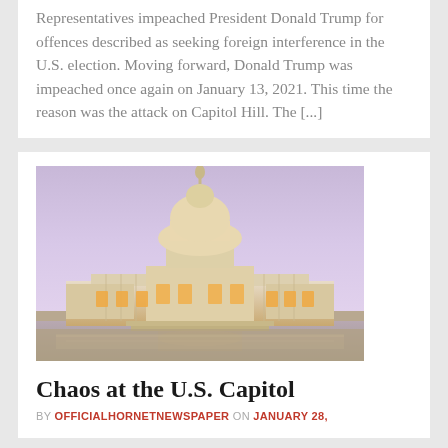Representatives impeached President Donald Trump for offences described as seeking foreign interference in the U.S. election. Moving forward, Donald Trump was impeached once again on January 13, 2021. This time the reason was the attack on Capitol Hill. The [...]
[Figure (photo): Photo of the U.S. Capitol building at dusk/twilight with illuminated dome against a pink-purple sky, with reflecting pool in foreground]
Chaos at the U.S. Capitol
BY OFFICIALHORNETNEWSPAPER ON JANUARY 28,